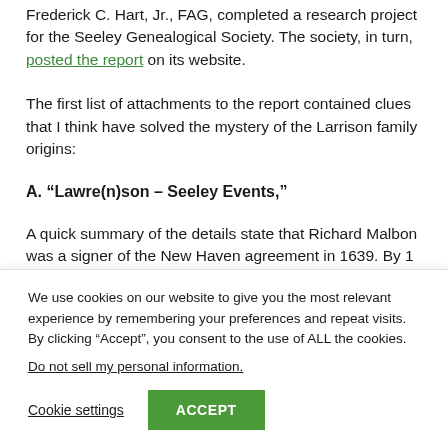Frederick C. Hart, Jr., FAG, completed a research project for the Seeley Genealogical Society. The society, in turn, posted the report on its website.
The first list of attachments to the report contained clues that I think have solved the mystery of the Larrison family origins:
A. “Lawre(n)son – Seeley Events,”
A quick summary of the details state that Richard Malbon was a signer of the New Haven agreement in 1639. By 1 March
We use cookies on our website to give you the most relevant experience by remembering your preferences and repeat visits. By clicking “Accept”, you consent to the use of ALL the cookies.
Do not sell my personal information.
Cookie settings
ACCEPT